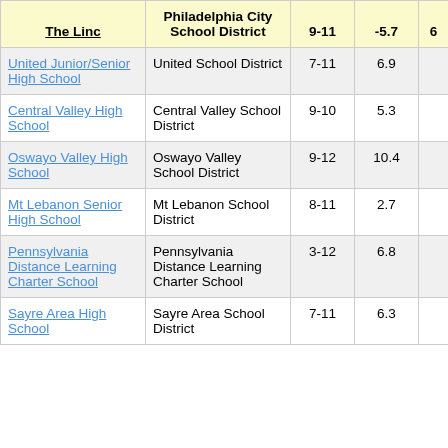| The Linc | Philadelphia City School District | 9-11 | -5.7 | 6 |
| --- | --- | --- | --- | --- |
| United Junior/Senior High School | United School District | 7-11 | 6.9 |  |
| Central Valley High School | Central Valley School District | 9-10 | 5.3 |  |
| Oswayo Valley High School | Oswayo Valley School District | 9-12 | 10.4 |  |
| Mt Lebanon Senior High School | Mt Lebanon School District | 8-11 | 2.7 |  |
| Pennsylvania Distance Learning Charter School | Pennsylvania Distance Learning Charter School | 3-12 | 6.8 |  |
| Sayre Area High School | Sayre Area School District | 7-11 | 6.3 |  |